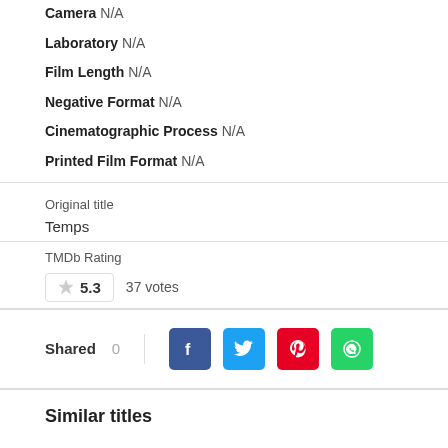Camera N/A
Laboratory N/A
Film Length N/A
Negative Format N/A
Cinematographic Process N/A
Printed Film Format N/A
Original title
Temps
TMDb Rating
5.3  37 votes
Shared 0
Similar titles